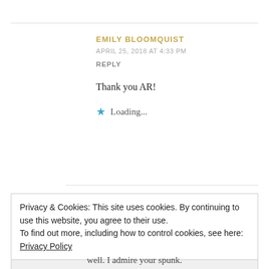EMILY BLOOMQUIST
APRIL 25, 2018 AT 4:33 PM
REPLY
Thank you AR!
★ Loading...
Privacy & Cookies: This site uses cookies. By continuing to use this website, you agree to their use.
To find out more, including how to control cookies, see here: Privacy Policy
Close and accept
well. I admire your spunk.